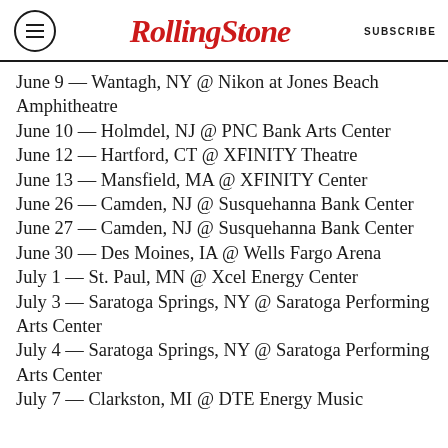RollingStone | SUBSCRIBE
June 9 — Wantagh, NY @ Nikon at Jones Beach Amphitheatre
June 10 — Holmdel, NJ @ PNC Bank Arts Center
June 12 — Hartford, CT @ XFINITY Theatre
June 13 — Mansfield, MA @ XFINITY Center
June 26 — Camden, NJ @ Susquehanna Bank Center
June 27 — Camden, NJ @ Susquehanna Bank Center
June 30 — Des Moines, IA @ Wells Fargo Arena
July 1 — St. Paul, MN @ Xcel Energy Center
July 3 — Saratoga Springs, NY @ Saratoga Performing Arts Center
July 4 — Saratoga Springs, NY @ Saratoga Performing Arts Center
July 7 — Clarkston, MI @ DTE Energy Music